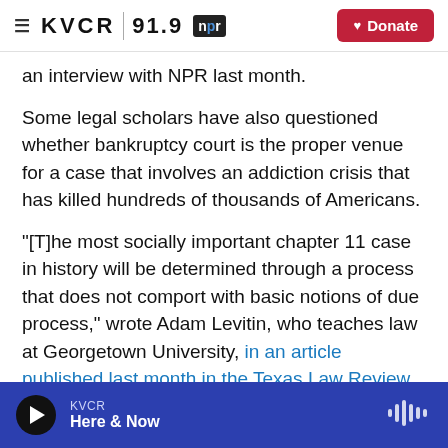≡ KVCR | 91.9 npr [Donate]
an interview with NPR last month.
Some legal scholars have also questioned whether bankruptcy court is the proper venue for a case that involves an addiction crisis that has killed hundreds of thousands of Americans.
"[T]he most socially important chapter 11 case in history will be determined through a process that does not comport with basic notions of due process," wrote Adam Levitin, who teaches law at Georgetown University, in an article published last month in the Texas Law Review.
KVCR Here & Now